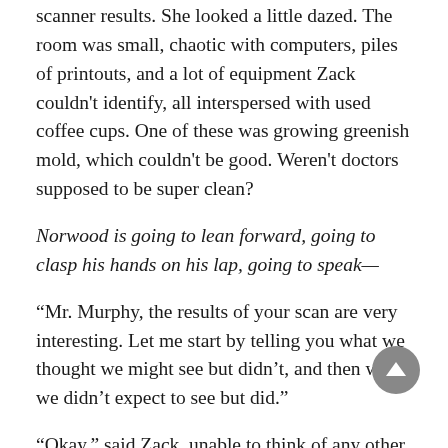scanner results. She looked a little dazed. The room was small, chaotic with computers, piles of printouts, and a lot of equipment Zack couldn't identify, all interspersed with used coffee cups. One of these was growing greenish mold, which couldn't be good. Weren't doctors supposed to be super clean?
Norwood is going to lean forward, going to clasp his hands on his lap, going to speak—
“Mr. Murphy, the results of your scan are very interesting. Let me start by telling you what we thought we might see but didn't, and then what we didn't expect to see but did.”
“Okay,” said Zack, unable to think of any other response. The non-voices had been pummeled into silence by two double Scotches